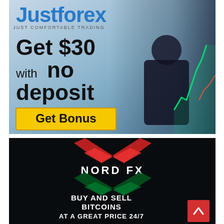[Figure (illustration): JustForex advertisement banner. Blue gradient background with businessman in dark suit holding smartphone. Green trading chart overlaid. Text: JustForex JUST COMFORTABLE TRADING, Get $30 with no deposit, yellow Get Bonus button.]
[Figure (illustration): NordFX advertisement banner. Dark/black background with red and green X chevron logo marks and NordFX text. Text: BUY AND SELL BITCOINS AT A GREAT PRICE 24/7. Red scroll-up button at bottom right.]